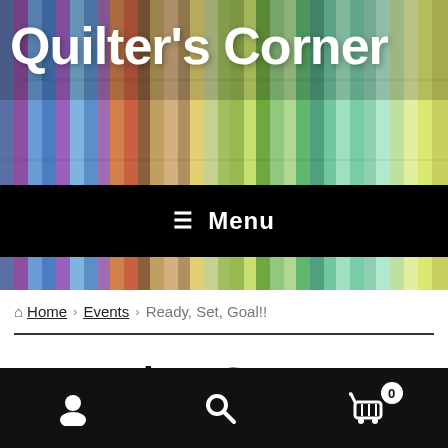[Figure (photo): Header banner with colorful stacked fabric rolls/bolts arranged vertically, showing a rainbow of quilting fabrics. White bold text 'Quilter's Corner' overlaid on top left.]
Quilter's Corner
≡  Menu
Home › Events › Ready, Set, Goal!!
Ready, Set, Goal!!
user icon | search icon | cart icon (0)